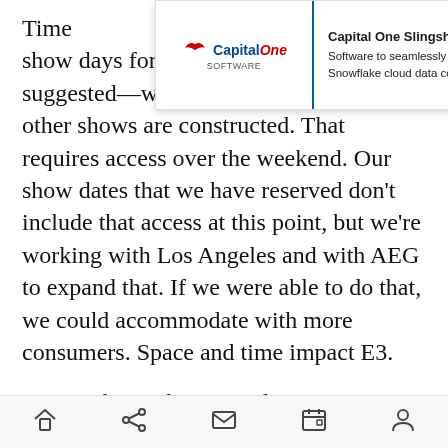Time … have separate show days for consumers, which has been suggested—we're well aware of how other shows are constructed. That requires access over the weekend. Our show dates that we have reserved don't include that access at this point, but we're working with Los Angeles and with AEG to expand that. If we were able to do that, we could accommodate with more consumers. Space and time impact E3.
We see the evolution, and consumer engagement is a super positive part of that. Some of this is symbolic. We have 2.6 billion gamers. They live vicariously the 15,000 that are here. Symbolically,
[Figure (screenshot): Capital One Software advertisement banner showing the Capital One logo with 'Software' label, a blue vertical divider, and text reading 'Capital One Slingshot – Software to seamlessly manage your Snowflake cloud data costs.' with a circular close (X) button.]